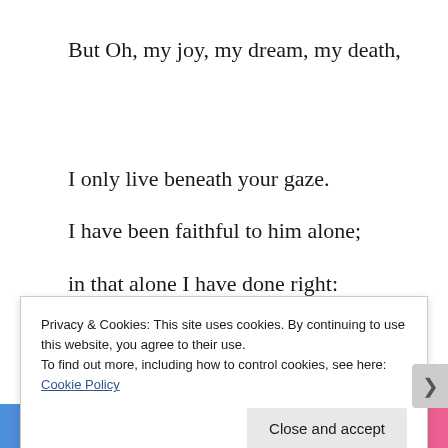But Oh, my joy, my dream, my death,
I only live beneath your gaze.
I have been faithful to him alone;
in that alone I have done right:
Privacy & Cookies: This site uses cookies. By continuing to use this website, you agree to their use.
To find out more, including how to control cookies, see here: Cookie Policy
Close and accept
[Figure (other): Advertisement banner at the bottom of the page showing colorful gradient background with text 'everything you need.']